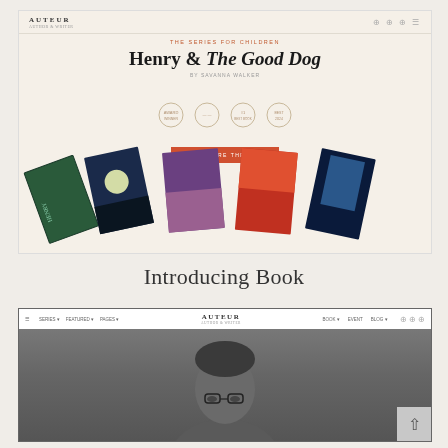[Figure (screenshot): Website screenshot of the Auteur theme showing a hero section with 'Henry & The Good Dog' children's book series by Savanna Walker, four award badges, a red CTA button, and a fan of colorful book cover illustrations at the bottom.]
Introducing Book
[Figure (screenshot): Second website screenshot showing the Auteur theme with a navigation bar, and a grayscale portrait photo of a man wearing glasses below it. A light gray back-to-top arrow button is visible in the bottom-right corner.]